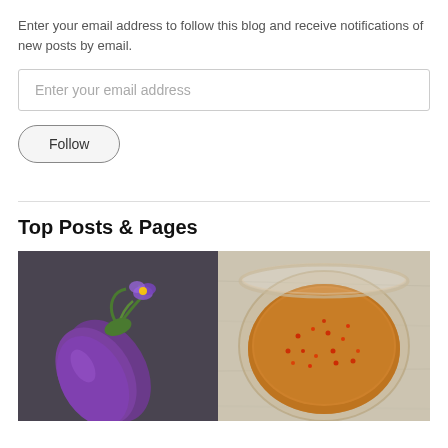Enter your email address to follow this blog and receive notifications of new posts by email.
[Figure (other): Email input field with placeholder text 'Enter your email address']
[Figure (other): Follow button with rounded pill shape]
Top Posts & Pages
[Figure (photo): Photo of a purple eggplant/aubergine on a dark slate background with green stem and purple flower]
[Figure (photo): Photo of a glass bowl containing orange-brown sauce with red chili flakes, on a light wooden surface]